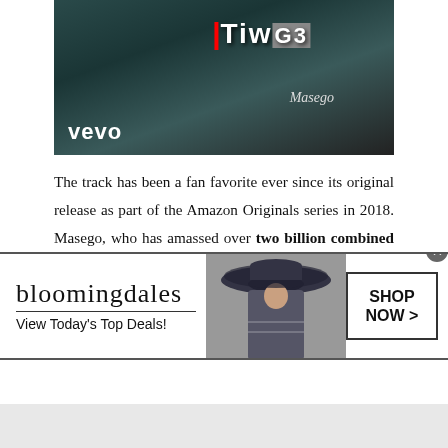[Figure (screenshot): Vevo music video thumbnail showing 'Tiwo' text on dark teal background with 'vevo' logo in white and 'Masego' script text]
The track has been a fan favorite ever since its original release as part of the Amazon Originals series in 2018. Masego, who has amassed over two billion combined global streams in his career to date, recently earned his first GRAMMY nomination. Studying Abroad: Extended Stay (EQT Recordings/Capitol Records), the deluxe edition of his acclaimed EP, is
[Figure (screenshot): Bloomingdale's advertisement banner: 'bloomingdales / View Today's Top Deals!' with model in large hat and 'SHOP NOW >' button]